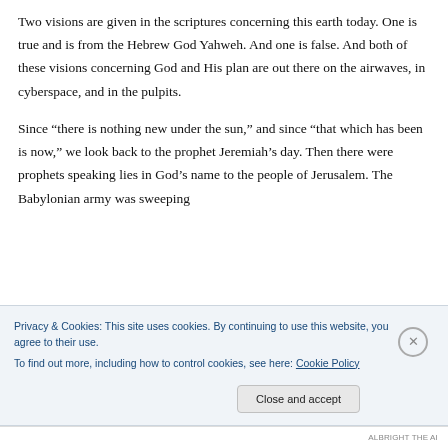Two visions are given in the scriptures concerning this earth today. One is true and is from the Hebrew God Yahweh. And one is false. And both of these visions concerning God and His plan are out there on the airwaves, in cyberspace, and in the pulpits.
Since “there is nothing new under the sun,” and since “that which has been is now,” we look back to the prophet Jeremiah’s day. Then there were prophets speaking lies in God’s name to the people of Jerusalem. The Babylonian army was sweeping
Privacy & Cookies: This site uses cookies. By continuing to use this website, you agree to their use.
To find out more, including how to control cookies, see here: Cookie Policy
Close and accept